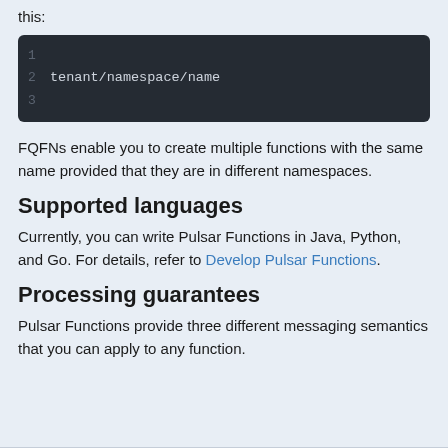this:
[Figure (screenshot): Code block with dark background showing 3 lines, line 2 contains: tenant/namespace/name]
FQFNs enable you to create multiple functions with the same name provided that they are in different namespaces.
Supported languages
Currently, you can write Pulsar Functions in Java, Python, and Go. For details, refer to Develop Pulsar Functions.
Processing guarantees
Pulsar Functions provide three different messaging semantics that you can apply to any function.